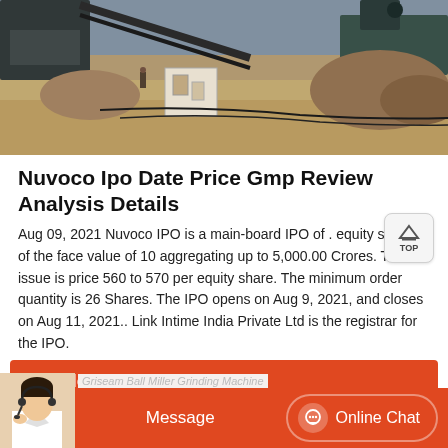[Figure (photo): Outdoor industrial site with machinery, conveyor belts, a small white building, and earthen grounds under a grey sky]
Nuvoco Ipo Date Price Gmp Review Analysis Details
Aug 09, 2021 Nuvoco IPO is a main-board IPO of . equity shares of the face value of 10 aggregating up to 5,000.00 Crores. The issue is price 560 to 570 per equity share. The minimum order quantity is 26 Shares. The IPO opens on Aug 9, 2021, and closes on Aug 11, 2021.. Link Intime India Private Ltd is the registrar for the IPO.
Hot News
Message
Online Chat
Griseam Ball Miller Grinding Machine